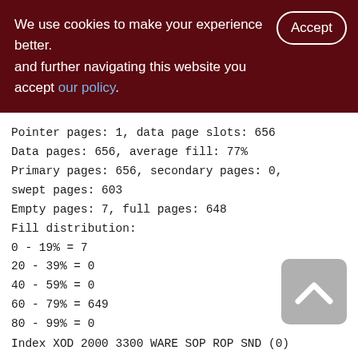We use cookies to make your experience better. By accepting and further navigating this website you accept our policy.
Pointer pages: 1, data page slots: 656
Data pages: 656, average fill: 77%
Primary pages: 656, secondary pages: 0,
swept pages: 603
Empty pages: 7, full pages: 648
Fill distribution:
0 - 19% = 7
20 - 39% = 0
40 - 59% = 0
60 - 79% = 649
80 - 99% = 0
[Figure (other): Back to top button with upward chevron arrow]
Index XOD 2000 3300 WARE SOP ROP SND (0)